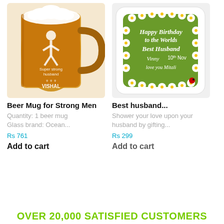[Figure (photo): Beer mug with engraved design showing a strong man silhouette, text 'Super strong husband' and 'VISHAL', filled with beer, white foam on top]
Beer Mug for Strong Men
Quantity: 1 beer mug
Glass brand: Ocean...
Rs 761
Add to cart
[Figure (photo): Square coaster with rounded corners, green background with daisy flower border, text 'Happy Birthday to the Worlds Best Husband', 'Vinny 10th Nov', 'love you Mitali']
Best husband...
Shower your love upon your husband by gifting...
Rs 299
Add to cart
OVER 20,000 SATISFIED CUSTOMERS